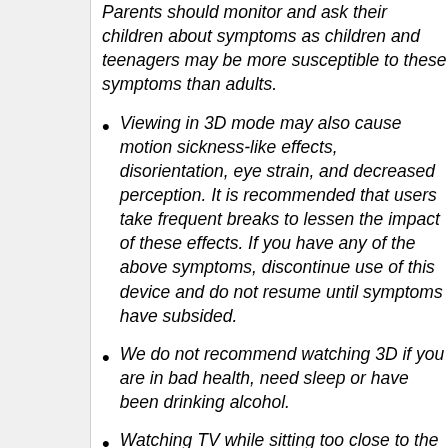Parents should monitor and ask their children about symptoms as children and teenagers may be more susceptible to these symptoms than adults.
Viewing in 3D mode may also cause motion sickness-like effects, disorientation, eye strain, and decreased perception. It is recommended that users take frequent breaks to lessen the impact of these effects. If you have any of the above symptoms, discontinue use of this device and do not resume until symptoms have subsided.
We do not recommend watching 3D if you are in bad health, need sleep or have been drinking alcohol.
Watching TV while sitting too close to the screen for a long period of time may damage your eyesight. The ideal viewing distance should be at least three times the height of the TV screen. It is recommended that the viewer's eyes are level with the screen.
Watching TV while wearing 3D Active Glasses for an extended period of time may cause headaches or fatigue. If you experience a headache, fatigue or dizziness, stop watching TV and rest.
Do not use the 3D Active Glasses for any purpose other than